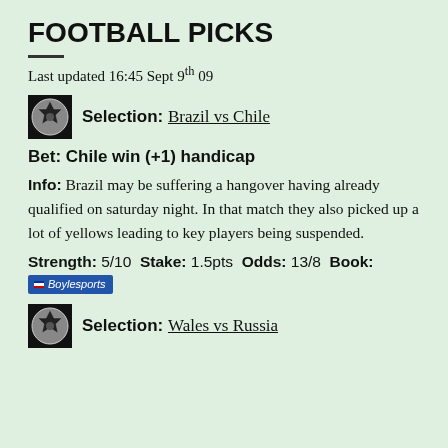FOOTBALL PICKS
Last updated 16:45 Sept 9th 09
Selection: Brazil vs Chile
Bet: Chile win (+1) handicap
Info: Brazil may be suffering a hangover having already qualified on saturday night. In that match they also picked up a lot of yellows leading to key players being suspended.
Strength: 5/10 Stake: 1.5pts Odds: 13/8 Book: Boylesports
Selection: Wales vs Russia